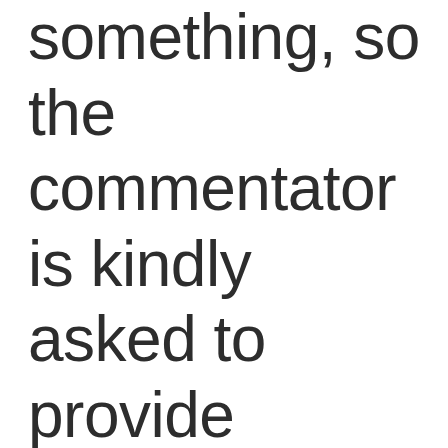something, so the commentator is kindly asked to provide further examples or explain the one given beter. The